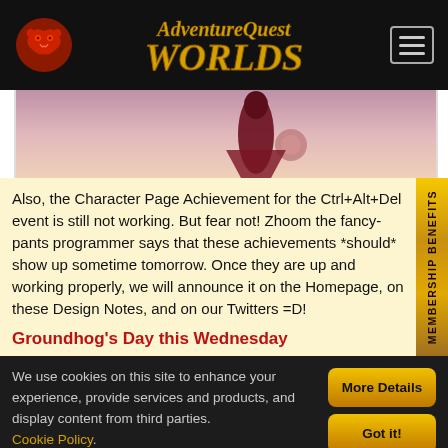AdventureQuest Worlds
[Figure (screenshot): Partial game screenshot showing a character figure with pink/red tones against a light background]
Also, the Character Page Achievement for the Ctrl+Alt+Del event is still not working. But fear not! Zhoom the fancy-pants programmer says that these achievements *should* show up sometime tomorrow. Once they are up and working properly, we will announce it on the Homepage, on these Design Notes, and on our Twitters =D!
Groundhog's Day this Wednesday
We use cookies on this site to enhance your experience, provide services and products, and display content from third parties. Cookie Policy.